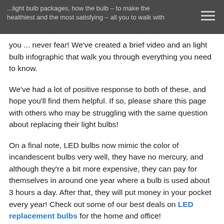...light bulb packages, how the bulb – to make the healthiest and the most satisfying – all you need to walk you ... never fear! We've created a brief video and an light bulb infographic that walk you through everything you need to know.
We've had a lot of positive response to both of these, and hope you'll find them helpful. If so, please share this page with others who may be struggling with the same question about replacing their light bulbs!
On a final note, LED bulbs now mimic the color of incandescent bulbs very well, they have no mercury, and although they're a bit more expensive, they can pay for themselves in around one year where a bulb is used about 3 hours a day. After that, they will put money in your pocket every year! Check out some of our best deals on LED replacement bulbs for the home and office!